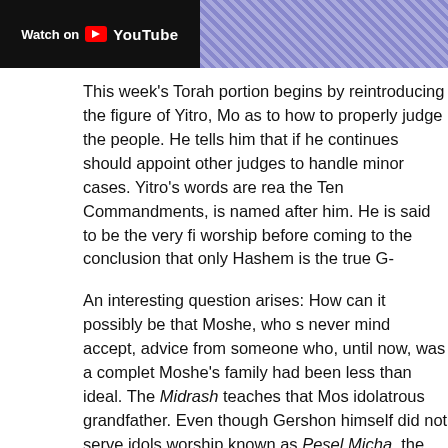[Figure (screenshot): YouTube video thumbnail banner with 'Watch on YouTube' button on left and patterned background on right]
This week's Torah portion begins by reintroducing the figure of Yitro, Mo as to how to properly judge the people. He tells him that if he continues should appoint other judges to handle minor cases. Yitro's words are rea the Ten Commandments, is named after him. He is said to be the very fi worship before coming to the conclusion that only Hashem is the true G-
An interesting question arises: How can it possibly be that Moshe, who s never mind accept, advice from someone who, until now, was a complet Moshe's family had been less than ideal. The Midrash teaches that Mos idolatrous grandfather. Even though Gershon himself did not serve idols worship known as Pesel Micha, the very first major deviation from servin about this here) Imagine, Moshe's own grandson succumbing to idol wo forbid.
In general, the question of how much to interact with the outside world is in the post for last week's portion, the secret lies not in one extreme or th to foreign wisdom and culture is very likely to lead one astray. On the oth and corruption from within.
The proper balance will be different for different people. Some may belo require more insularity. As a people, the key is to have a leader that is h know how to accept and utilize outside knowledge when necessary. No